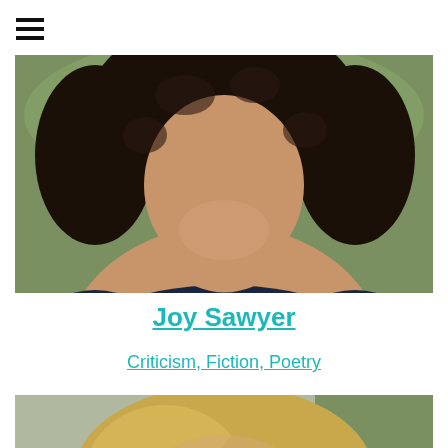[Figure (photo): Portrait photo of Joy Sawyer, a woman with curly dark hair wearing a navy blue scoop-neck t-shirt, outdoors with green foliage background]
Joy Sawyer
Criticism, Fiction, Poetry
[Figure (photo): Partial portrait photo of another person with blonde hair, outdoors]